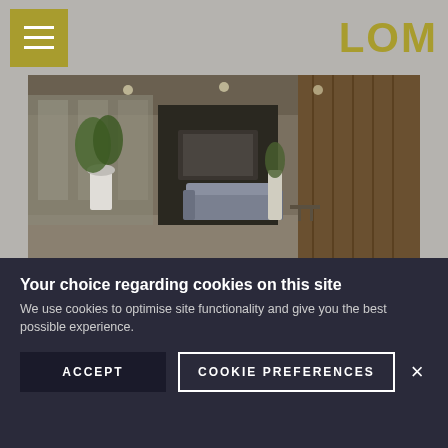LOM (logo) with hamburger menu
[Figure (photo): Interior photo of a modern office lobby with seating area, plants, and wood paneling]
LOM looks at how the creative reuse of existing office buildings and their furniture can cut waste, carbon and cost.
READ MORE
Designing a neurodiverse workplace
Your choice regarding cookies on this site
We use cookies to optimise site functionality and give you the best possible experience.
ACCEPT  COOKIE PREFERENCES  ×